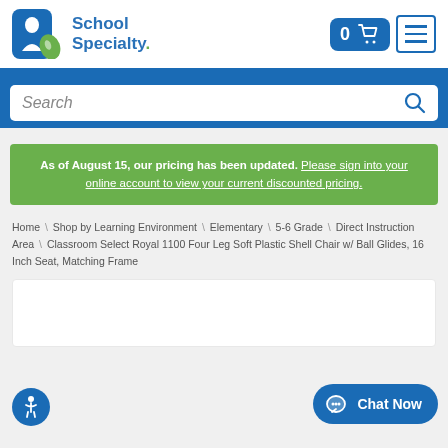[Figure (logo): School Specialty logo with blue and green icon and text]
Search
As of August 15, our pricing has been updated. Please sign into your online account to view your current discounted pricing.
Home \ Shop by Learning Environment \ Elementary \ 5-6 Grade \ Direct Instruction Area \ Classroom Select Royal 1100 Four Leg Soft Plastic Shell Chair w/ Ball Glides, 16 Inch Seat, Matching Frame
Chat Now